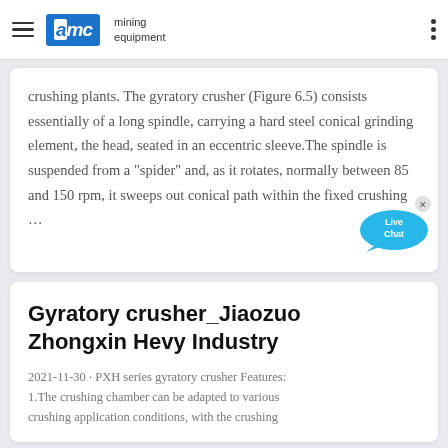AMC mining equipment
crushing plants. The gyratory crusher (Figure 6.5) consists essentially of a long spindle, carrying a hard steel conical grinding element, the head, seated in an eccentric sleeve.The spindle is suspended from a "spider" and, as it rotates, normally between 85 and 150 rpm, it sweeps out conical path within the fixed crushing …
Gyratory crusher_Jiaozuo Zhongxin Hevy Industry
2021-11-30 · PXH series gyratory crusher Features: 1.The crushing chamber can be adapted to various crushing application conditions, with the crushing